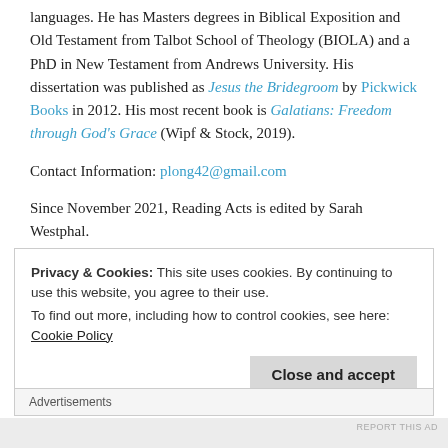languages. He has Masters degrees in Biblical Exposition and Old Testament from Talbot School of Theology (BIOLA) and a PhD in New Testament from Andrews University. His dissertation was published as Jesus the Bridegroom by Pickwick Books in 2012. His most recent book is Galatians: Freedom through God's Grace (Wipf & Stock, 2019).
Contact Information: plong42@gmail.com
Since November 2021, Reading Acts is edited by Sarah Westphal.
Privacy & Cookies: This site uses cookies. By continuing to use this website, you agree to their use.
To find out more, including how to control cookies, see here: Cookie Policy
Close and accept
Advertisements